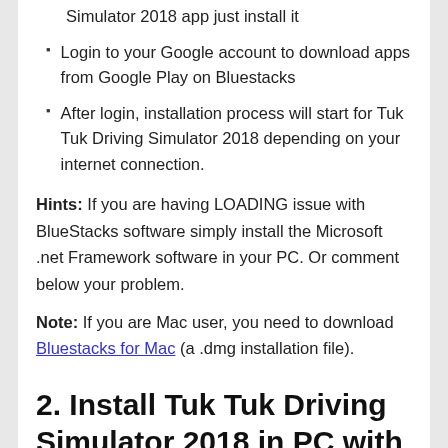Simulator 2018 app just install it
Login to your Google account to download apps from Google Play on Bluestacks
After login, installation process will start for Tuk Tuk Driving Simulator 2018 depending on your internet connection.
Hints: If you are having LOADING issue with BlueStacks software simply install the Microsoft .net Framework software in your PC. Or comment below your problem.
Note: If you are Mac user, you need to download Bluestacks for Mac (a .dmg installation file).
2. Install Tuk Tuk Driving Simulator 2018 in PC with